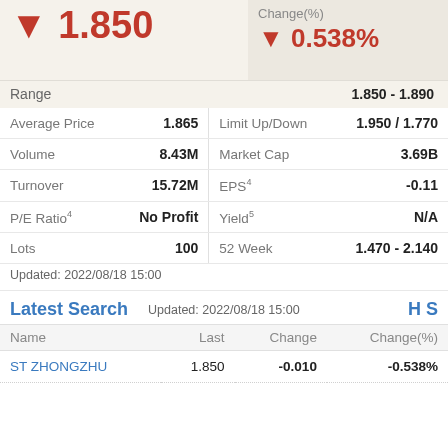▼ 1.850
Change(%) ▼ 0.538%
Range 1.850 - 1.890
|  |  |  |  |
| --- | --- | --- | --- |
| Average Price | 1.865 | Limit Up/Down | 1.950 / 1.770 |
| Volume | 8.43M | Market Cap | 3.69B |
| Turnover | 15.72M | EPS⁴ | -0.11 |
| P/E Ratio⁴ | No Profit | Yield⁵ | N/A |
| Lots | 100 | 52 Week | 1.470 - 2.140 |
Updated: 2022/08/18 15:00
Latest Search
Updated: 2022/08/18 15:00
H S
| Name | Last | Change | Change(%) |
| --- | --- | --- | --- |
| ST ZHONGZHU | 1.850 | -0.010 | -0.538% |